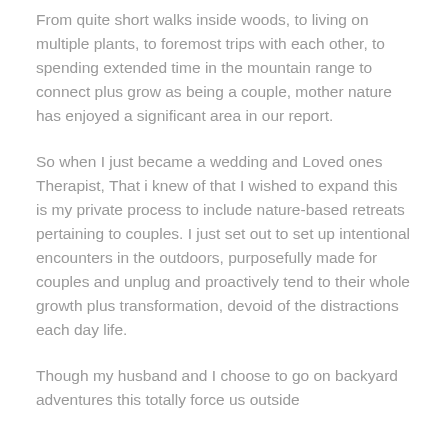From quite short walks inside woods, to living on multiple plants, to foremost trips with each other, to spending extended time in the mountain range to connect plus grow as being a couple, mother nature has enjoyed a significant area in our report.
So when I just became a wedding and Loved ones Therapist, That i knew of that I wished to expand this is my private process to include nature-based retreats pertaining to couples. I just set out to set up intentional encounters in the outdoors, purposefully made for couples and unplug and proactively tend to their whole growth plus transformation, devoid of the distractions each day life.
Though my husband and I choose to go on backyard adventures this totally force us outside